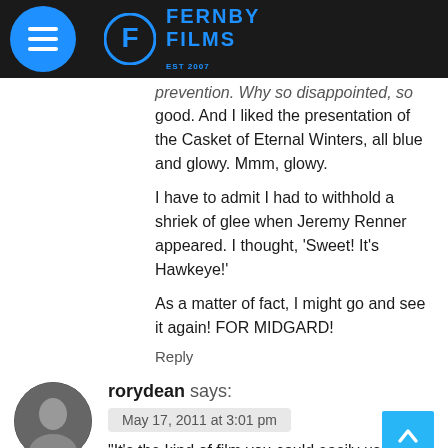Fernby Films
prevention. Why so disappointed, so good. And I liked the presentation of the Casket of Eternal Winters, all blue and glowy. Mmm, glowy.
I have to admit I had to withhold a shriek of glee when Jeremy Renner appeared. I thought, 'Sweet! It's Hawkeye!'
As a matter of fact, I might go and see it again! FOR MIDGARD!
Reply
rorydean says:
May 17, 2011 at 3:01 pm
"It's the kind of film you could easily use